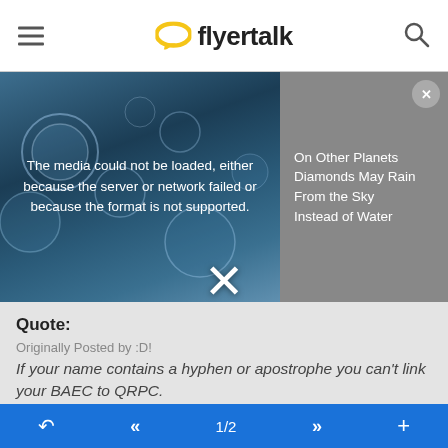flyertalk
[Figure (screenshot): Media player area showing bubbles/water droplets background with error message: 'The media could not be loaded, either because the server or network failed or because the format is not supported.' Overlaid with article teaser on right side: 'On Other Planets Diamonds May Rain From the Sky Instead of Water']
Quote:
Originally Posted by :D!
If your name contains a hyphen or apostrophe you can't link your BAEC to QRPC.
I had this problem with a hyphen in my first name, and did a long battle of emails to QR - I could not link my BA to QR. Then a few weeks later I was reading a blog and they
← « 1/2 » +